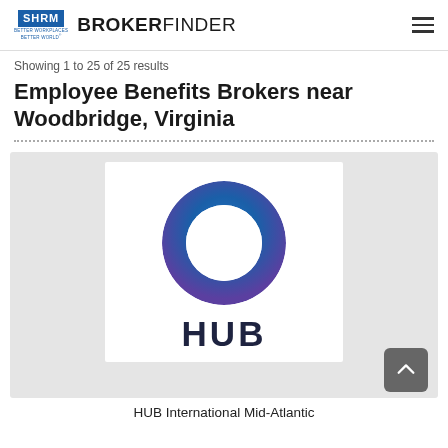SHRM BROKERFINDER
Showing 1 to 25 of 25 results
Employee Benefits Brokers near Woodbridge, Virginia
[Figure (logo): HUB International logo: a blue-to-purple gradient ring/circle above the bold text HUB in dark navy]
HUB International Mid-Atlantic